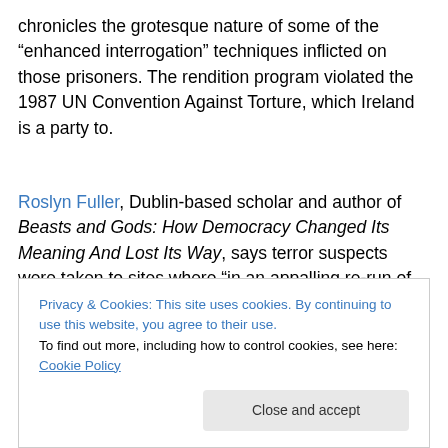chronicles the grotesque nature of some of the “enhanced interrogation” techniques inflicted on those prisoners. The rendition program violated the 1987 UN Convention Against Torture, which Ireland is a party to.
Roslyn Fuller, Dublin-based scholar and author of Beasts and Gods: How Democracy Changed Its Meaning And Lost Its Way, says terror suspects were taken to sites where “in an appalling re-run of the Spanish Inquisition tactics, [they were] routinely tortured and mistreated in an
Privacy & Cookies: This site uses cookies. By continuing to use this website, you agree to their use.
To find out more, including how to control cookies, see here: Cookie Policy
Close and accept